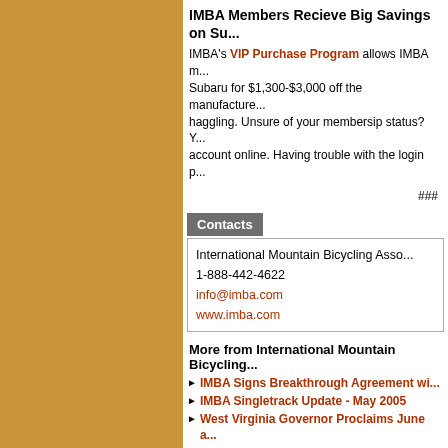IMBA Members Recieve Big Savings on Su...
IMBA's VIP Purchase Program allows IMBA m... Subaru for $1,300-$3,000 off the manufacture... haggling. Unsure of your membersip status? Y... account online. Having trouble with the login p...
###
Contacts
| International Mountain Bicycling Asso... |
| 1-888-442-4622 |
| info@imba.com |
| www.imba.com |
More from International Mountain Bicycling...
IMBA Signs Breakthrough Agreement wi...
IMBA Singletrack Update - May 2005
West Virginia Governor Proclaims June a...
Mountain Bike Groups Release Proposal...
Seven 2005 Kona/IMBA Freeride Grants ...
IMBA Singletrack Update - July 2005
Ten 2005 NORBA/IMBA Trail Tune-Up Gr...
New Transportation Bill Promises More T...
Congress Backs Take a Kid MTB-ing Init...
Bush Rides IMBA-Built Singletrack in Ida...
CLIF Bar and IMBA Award $6,000 in Gran...